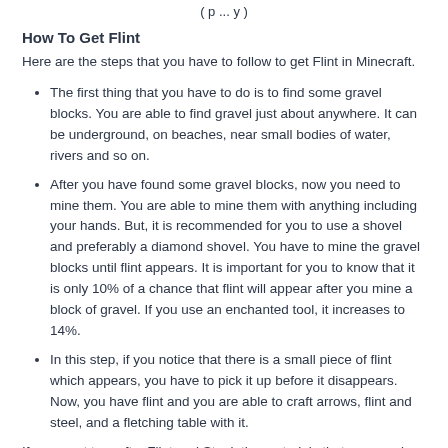( p ... y )
How To Get Flint
Here are the steps that you have to follow to get Flint in Minecraft.
The first thing that you have to do is to find some gravel blocks. You are able to find gravel just about anywhere. It can be underground, on beaches, near small bodies of water, rivers and so on.
After you have found some gravel blocks, now you need to mine them. You are able to mine them with anything including your hands. But, it is recommended for you to use a shovel and preferably a diamond shovel. You have to mine the gravel blocks until flint appears. It is important for you to know that it is only 10% of a chance that flint will appear after you mine a block of gravel. If you use an enchanted tool, it increases to 14%.
In this step, if you notice that there is a small piece of flint which appears, you have to pick it up before it disappears. Now, you have flint and you are able to craft arrows, flint and steel, and a fletching table with it.
If you want to craft a Flint and Steel, the materials that you need are 1 Flint + 1 Iron Ingot. If you want to craft 4 Arrows, the materials that you